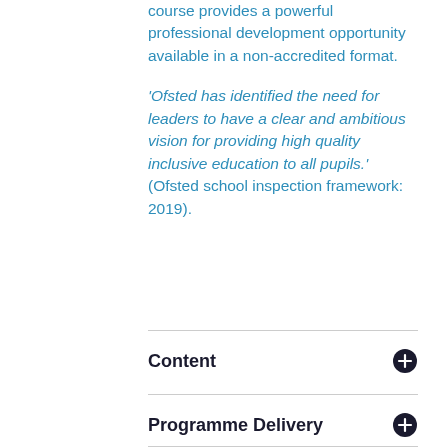course provides a powerful professional development opportunity available in a non-accredited format.
‘Ofsted has identified the need for leaders to have a clear and ambitious vision for providing high quality inclusive education to all pupils.’ (Ofsted school inspection framework: 2019).
Content
Programme Delivery